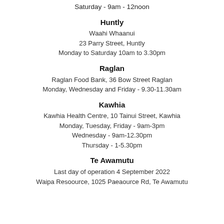Saturday - 9am - 12noon
Huntly
Waahi Whaanui
23 Parry Street, Huntly
Monday to Saturday 10am to 3.30pm
Raglan
Raglan Food Bank, 36 Bow Street Raglan
Monday, Wednesday and Friday - 9.30-11.30am
Kawhia
Kawhia Health Centre, 10 Tainui Street, Kawhia
Monday, Tuesday, Friday - 9am-3pm
Wednesday - 9am-12.30pm
Thursday - 1-5.30pm
Te Awamutu
Last day of operation 4 September 2022
Waipa Resoource, 1025 Paeaource Rd, Te Awamutu